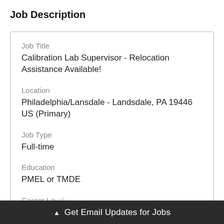Job Description
Job Title
Calibration Lab Supervisor - Relocation Assistance Available!
Location
Philadelphia/Lansdale - Landsdale, PA 19446 US (Primary)
Job Type
Full-time
Education
PMEL or TMDE
Career Level
Experien
▲ Get Email Updates for Jobs